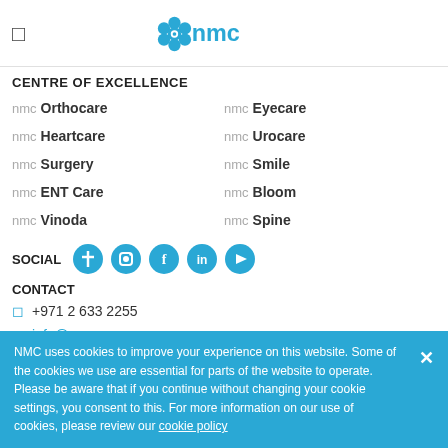NMC logo and menu
CENTRE OF EXCELLENCE
nmc Orthocare
nmc Eyecare
nmc Heartcare
nmc Urocare
nmc Surgery
nmc Smile
nmc ENT Care
nmc Bloom
nmc Vinoda
nmc Spine
SOCIAL
CONTACT
+971 2 633 2255
info@nmc.ae
NMC uses cookies to improve your experience on this website. Some of the cookies we use are essential for parts of the website to operate. Please be aware that if you continue without changing your cookie settings, you consent to this. For more information on our use of cookies, please review our cookie policy